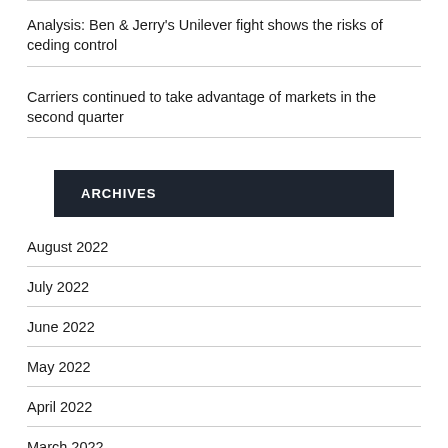Analysis: Ben & Jerry's Unilever fight shows the risks of ceding control
Carriers continued to take advantage of markets in the second quarter
ARCHIVES
August 2022
July 2022
June 2022
May 2022
April 2022
March 2022
February 2022